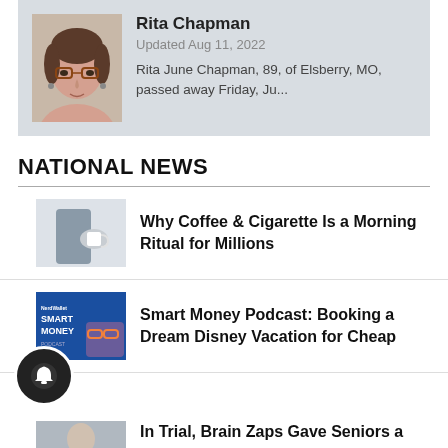[Figure (photo): Portrait photo of Rita Chapman, an elderly woman with short brown hair and glasses]
Rita Chapman
Updated Aug 11, 2022
Rita June Chapman, 89, of Elsberry, MO, passed away Friday, Ju...
NATIONAL NEWS
[Figure (photo): Person holding a white coffee cup, suggesting a morning ritual with coffee and cigarette]
Why Coffee & Cigarette Is a Morning Ritual for Millions
[Figure (photo): Smart Money Podcast cover image with blue background and text]
Smart Money Podcast: Booking a Dream Disney Vacation for Cheap
[Figure (photo): Partial thumbnail for brain zaps article showing a senior person]
In Trial, Brain Zaps Gave Seniors a